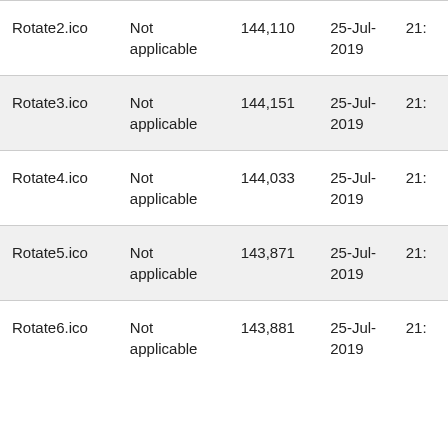| Rotate2.ico | Not applicable | 144,110 | 25-Jul-2019 | 21: |
| Rotate3.ico | Not applicable | 144,151 | 25-Jul-2019 | 21: |
| Rotate4.ico | Not applicable | 144,033 | 25-Jul-2019 | 21: |
| Rotate5.ico | Not applicable | 143,871 | 25-Jul-2019 | 21: |
| Rotate6.ico | Not applicable | 143,881 | 25-Jul-2019 | 21: |